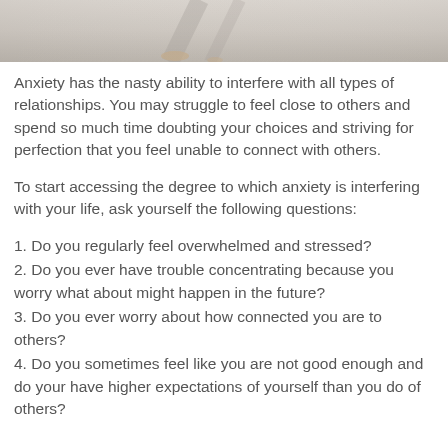[Figure (photo): Partial photo strip at top of page showing lower legs/feet of a person on a light sandy surface]
Anxiety has the nasty ability to interfere with all types of relationships. You may struggle to feel close to others and spend so much time doubting your choices and striving for perfection that you feel unable to connect with others.
To start accessing the degree to which anxiety is interfering with your life, ask yourself the following questions:
1. Do you regularly feel overwhelmed and stressed?
2. Do you ever have trouble concentrating because you worry what about might happen in the future?
3. Do you ever worry about how connected you are to others?
4. Do you sometimes feel like you are not good enough and do your have higher expectations of yourself than you do of others?